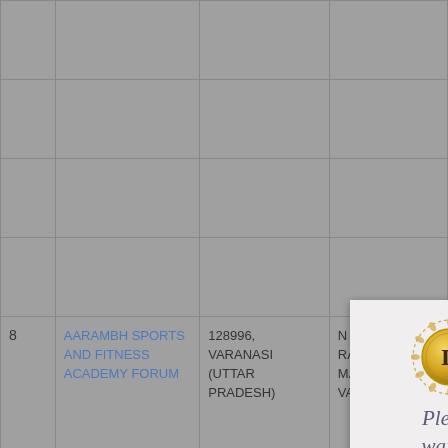[Figure (screenshot): A 'Please wait...' loading dialog with a golden D coin / medallion logo on a light grey background, overlaid on a grey table grid]
|  | Name | Registration No., City | Address |
| --- | --- | --- | --- |
| 8 | AARAMBH SPORTS AND FITNESS ACADEMY FORUM | 128996, VARANASI (UTTAR PRADESH) | N 11/99 G RANIPUR MAHMOORGAN VARANASI |